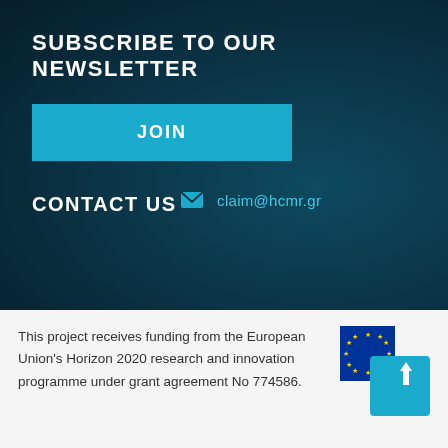SUBSCRIBE TO OUR NEWSLETTER
JOIN
CONTACT US
claim@hcmr.gr
[Figure (logo): EU flag logo with an upward arrow icon in teal]
This project receives funding from the European Union's Horizon 2020 research and innovation programme under grant agreement No 774586.